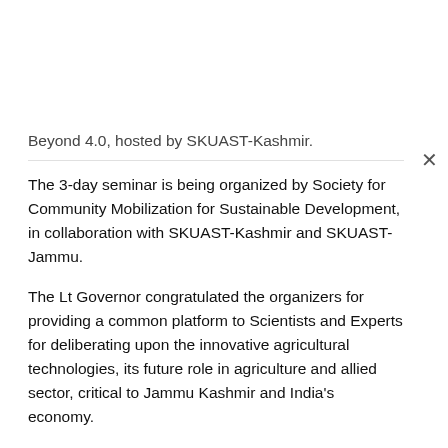Beyond 4.0, hosted by SKUAST-Kashmir.
The 3-day seminar is being organized by Society for Community Mobilization for Sustainable Development, in collaboration with SKUAST-Kashmir and SKUAST-Jammu.
The Lt Governor congratulated the organizers for providing a common platform to Scientists and Experts for deliberating upon the innovative agricultural technologies, its future role in agriculture and allied sector, critical to Jammu Kashmir and India's economy.
To meet the future challenges of Agriculture and allied sector, we will require new smart technologies, which can provide most extensive and precise support to the farmers, said the Lt Governor.
Agriculture 4.0 – the new-age Agriculture Revolution based on